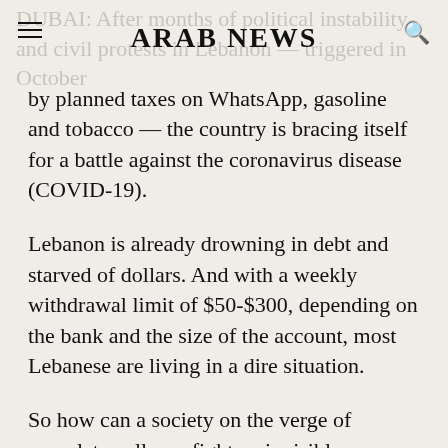ARAB NEWS
by planned taxes on WhatsApp, gasoline and tobacco — the country is bracing itself for a battle against the coronavirus disease (COVID-19).
Lebanon is already drowning in debt and starved of dollars. And with a weekly withdrawal limit of $50-$300, depending on the bank and the size of the account, most Lebanese are living in a dire situation.
So how can a society on the verge of complete collapse fight an invisible enemy that is threatening the world's richest economies?
Cases reported in early March came from people traveling back to Lebanon from Iran or Italy.